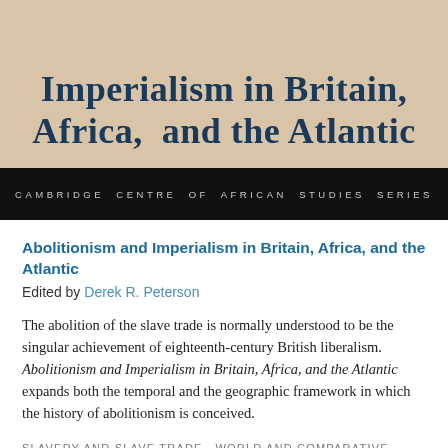[Figure (illustration): Book cover image with beige/tan background showing the title 'Imperialism in Britain, Africa, and the Atlantic' in large dark blue serif font, with a black bar below containing the series label 'CAMBRIDGE CENTRE OF AFRICAN STUDIES SERIES' in small spaced uppercase grey letters.]
Abolitionism and Imperialism in Britain, Africa, and the Atlantic
Edited by Derek R. Peterson
The abolition of the slave trade is normally understood to be the singular achievement of eighteenth-century British liberalism. Abolitionism and Imperialism in Britain, Africa, and the Atlantic expands both the temporal and the geographic framework in which the history of abolitionism is conceived.
SLAVERY AND SLAVE TRADE · WORLD AND COMPARATIVE HISTORY · 19TH CENTURY · AFRICAN STUDIES · ATLANTIC STUDIES